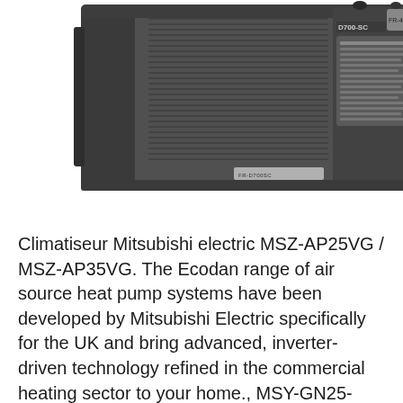[Figure (photo): Photograph of a Mitsubishi Electric D700-SC industrial inverter/drive unit, dark grey rectangular box with ventilation grilles and a control panel label on the right side.]
Climatiseur Mitsubishi electric MSZ-AP25VG / MSZ-AP35VG. The Ecodan range of air source heat pump systems have been developed by Mitsubishi Electric specifically for the UK and bring advanced, inverter-driven technology refined in the commercial heating sector to your home., MSY-GN25-42VF Installation Manual JG79B026H01